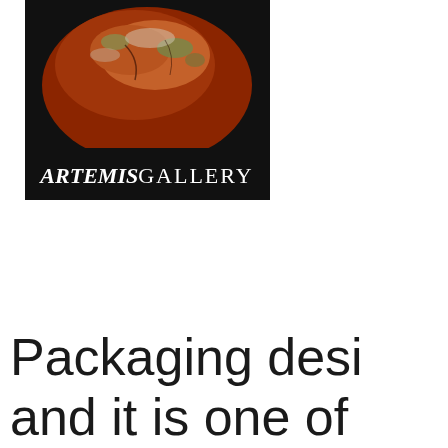[Figure (logo): Artemis Gallery logo: a close-up photo of a reddish-brown ancient ceramic/pottery artifact on a black background, with the text 'ARTEMISGALLERY' in white letters overlaid at the bottom of the image. 'ARTEMIS' is in bold and 'GALLERY' is in regular weight.]
Packaging desi... and it is one of...